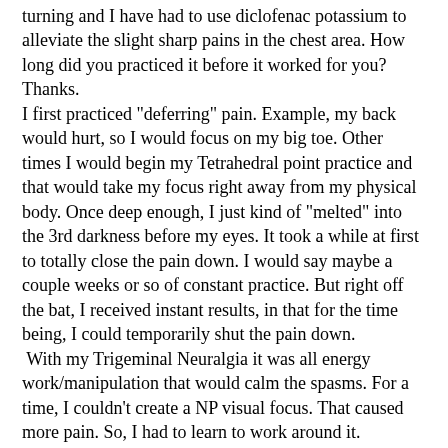turning and I have had to use diclofenac potassium to alleviate the slight sharp pains in the chest area. How long did you practiced it before it worked for you? Thanks. I first practiced "deferring" pain. Example, my back would hurt, so I would focus on my big toe. Other times I would begin my Tetrahedral point practice and that would take my focus right away from my physical body. Once deep enough, I just kind of "melted" into the 3rd darkness before my eyes. It took a while at first to totally close the pain down. I would say maybe a couple weeks or so of constant practice. But right off the bat, I received instant results, in that for the time being, I could temporarily shut the pain down. With my Trigeminal Neuralgia it was all energy work/manipulation that would calm the spasms. For a time, I couldn't create a NP visual focus. That caused more pain. So, I had to learn to work around it.
« Last Edit: April 17, 2017, 19:10:22 by